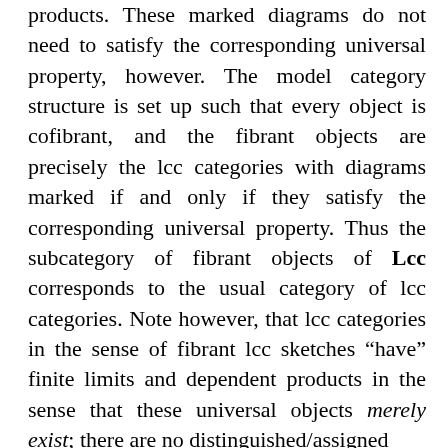products. These marked diagrams do not need to satisfy the corresponding universal property, however. The model category structure is set up such that every object is cofibrant, and the fibrant objects are precisely the lcc categories with diagrams marked if and only if they satisfy the corresponding universal property. Thus the subcategory of fibrant objects of Lcc corresponds to the usual category of lcc categories. Note however, that lcc categories in the sense of fibrant lcc sketches “have” finite limits and dependent products in the sense that these universal objects merely exist; there are no distinguished/assigned